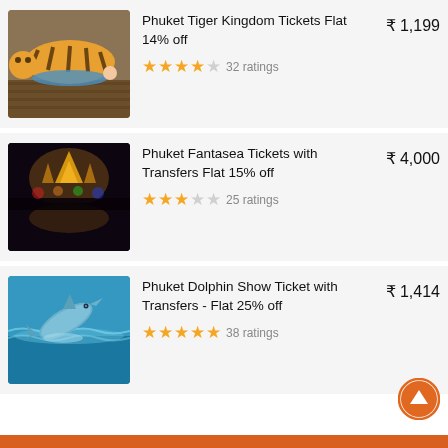[Figure (photo): Photo of a person lying with a tiger on wooden floor]
Phuket Tiger Kingdom Tickets Flat 14% off
★★★★☆ 32 ratings
₹ 1,199
[Figure (photo): Photo of Phuket Fantasea night show with illuminated temple]
Phuket Fantasea Tickets with Transfers Flat 15% off
★★★☆☆ 25 ratings
₹ 4,000
[Figure (photo): Photo of a dolphin jumping over water]
Phuket Dolphin Show Ticket with Transfers - Flat 25% off
★★★★★ 38 ratings
₹ 1,414
BOOK NOW